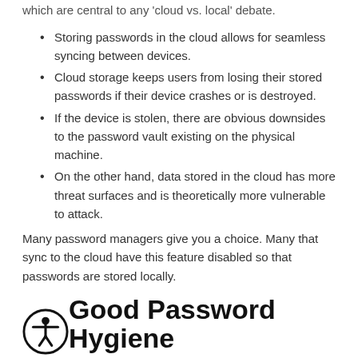which are central to any 'cloud vs. local' debate.
Storing passwords in the cloud allows for seamless syncing between devices.
Cloud storage keeps users from losing their stored passwords if their device crashes or is destroyed.
If the device is stolen, there are obvious downsides to the password vault existing on the physical machine.
On the other hand, data stored in the cloud has more threat surfaces and is theoretically more vulnerable to attack.
Many password managers give you a choice. Many that sync to the cloud have this feature disabled so that passwords are stored locally.
Good Password Hygiene Would Be Nearly Impossible